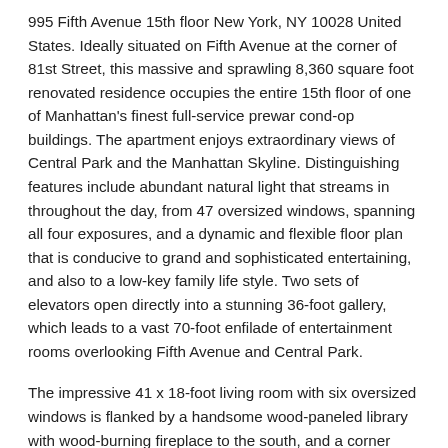995 Fifth Avenue 15th floor New York, NY 10028 United States. Ideally situated on Fifth Avenue at the corner of 81st Street, this massive and sprawling 8,360 square foot renovated residence occupies the entire 15th floor of one of Manhattan's finest full-service prewar cond-op buildings. The apartment enjoys extraordinary views of Central Park and the Manhattan Skyline. Distinguishing features include abundant natural light that streams in throughout the day, from 47 oversized windows, spanning all four exposures, and a dynamic and flexible floor plan that is conducive to grand and sophisticated entertaining, and also to a low-key family life style. Two sets of elevators open directly into a stunning 36-foot gallery, which leads to a vast 70-foot enfilade of entertainment rooms overlooking Fifth Avenue and Central Park.
The impressive 41 x 18-foot living room with six oversized windows is flanked by a handsome wood-paneled library with wood-burning fireplace to the south, and a corner formal dining room and wine cave to the north. Adjacent to the dining room there is an enormous and fully equipped eat-in-kitchen, and a perfectly situated family room with a breakfast area, that all